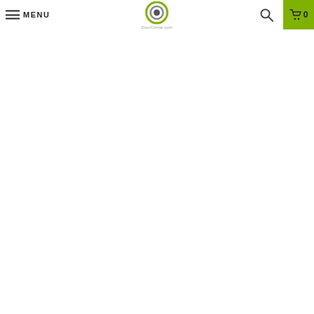[Figure (logo): DoorCorner.com website navigation header with hamburger menu, logo, search icon, and cart icon showing 0 items]
MENU | DoorCorner.com | Search | Cart 0